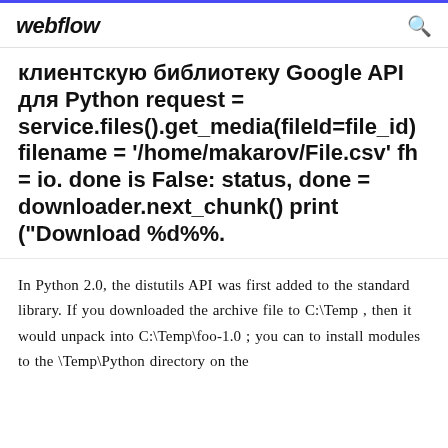webflow
клиентскую библиотеку Google API для Python request = service.files().get_media(fileId=file_id) filename = '/home/makarov/File.csv' fh = io. done is False: status, done = downloader.next_chunk() print ("Download %d%%.
In Python 2.0, the distutils API was first added to the standard library. If you downloaded the archive file to C:\Temp , then it would unpack into C:\Temp\foo-1.0 ; you can to install modules to the \Temp\Python directory on the